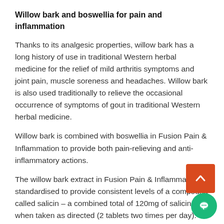Willow bark and boswellia for pain and inflammation
Thanks to its analgesic properties, willow bark has a long history of use in traditional Western herbal medicine for the relief of mild arthritis symptoms and joint pain, muscle soreness and headaches. Willow bark is also used traditionally to relieve the occasional occurrence of symptoms of gout in traditional Western herbal medicine.
Willow bark is combined with boswellia in Fusion Pain & Inflammation to provide both pain-relieving and anti-inflammatory actions.
The willow bark extract in Fusion Pain & Inflammation is standardised to provide consistent levels of a compound called salicin – a combined total of 120mg of salicin when taken as directed (2 tablets two times per day).
The boswellia extract is standardised for its content of beta-boswellic acids, which are believed to play a key